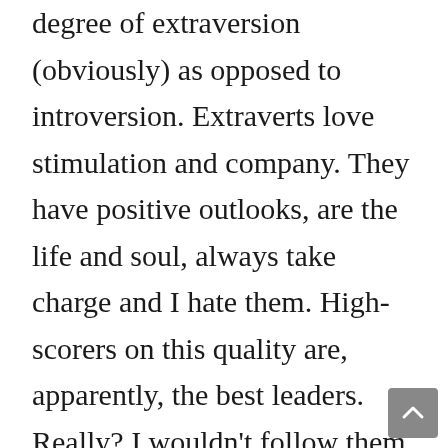degree of extraversion (obviously) as opposed to introversion. Extraverts love stimulation and company. They have positive outlooks, are the life and soul, always take charge and I hate them. High-scorers on this quality are, apparently, the best leaders. Really? I wouldn't follow them. Where are they going to lead you? Into the Valley of Death, I'm telling